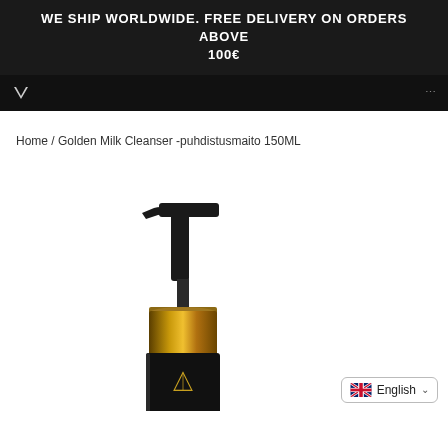WE SHIP WORLDWIDE. FREE DELIVERY ON ORDERS ABOVE 100€
Home / Golden Milk Cleanser -puhdistusmaito 150ML
[Figure (photo): Black pump bottle with gold metallic collar/ring, black square body with a small geometric logo. Product is a Golden Milk Cleanser 150ML.]
English